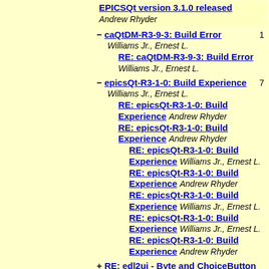EPICSQt version 3.1.0 released Andrew Rhyder
- caQtDM-R3-9-3: Build Error 1
Williams Jr., Ernest L.
  RE: caQtDM-R3-9-3: Build Error Williams Jr., Ernest L.
- epicsQt-R3-1-0: Build Experience 7
Williams Jr., Ernest L.
  RE: epicsQt-R3-1-0: Build Experience Andrew Rhyder
  RE: epicsQt-R3-1-0: Build Experience Andrew Rhyder
    RE: epicsQt-R3-1-0: Build Experience Williams Jr., Ernest L.
    RE: epicsQt-R3-1-0: Build Experience Andrew Rhyder
    RE: epicsQt-R3-1-0: Build Experience Williams Jr., Ernest L.
    RE: epicsQt-R3-1-0: Build Experience Williams Jr., Ernest L.
    RE: epicsQt-R3-1-0: Build Experience Andrew Rhyder
+ RE: edl2ui - Byte and ChoiceButton mapped 1
Williams Jr...